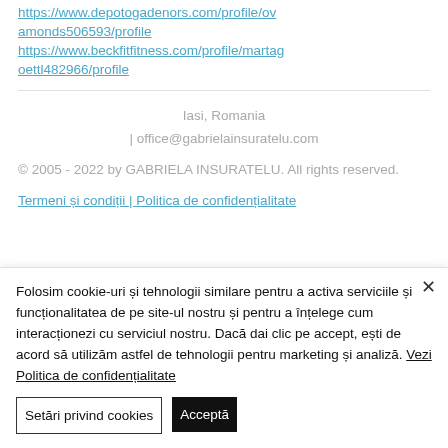https://www.depotogadenors.com/profile/ovamonds506593/profile
https://www.beckfitfitness.com/profile/martagoettl482966/profile
Iasi, Romania | office@gabrielainsuratelu.com
© 2005 - 2022 by GABRIELA INSURATELU. All rights reserved.
Termeni și condiții | Politica de confidențialitate
Folosim cookie-uri și tehnologii similare pentru a activa serviciile și funcționalitatea de pe site-ul nostru și pentru a înțelege cum interacționezi cu serviciul nostru. Dacă dai clic pe accept, ești de acord să utilizăm astfel de tehnologii pentru marketing și analiză. Vezi Politica de confidențialitate
Setări privind cookies
Acceptă